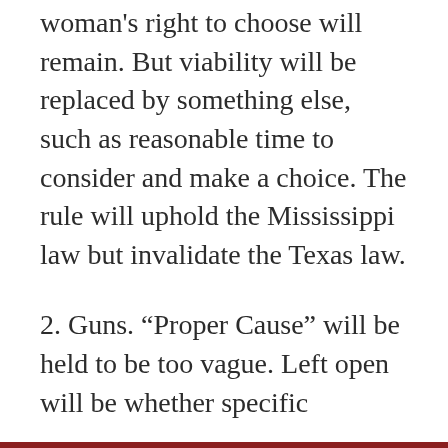woman's right to choose will remain. But viability will be replaced by something else, such as reasonable time to consider and make a choice. The rule will uphold the Mississippi law but invalidate the Texas law.
2. Guns. “Proper Cause” will be held to be too vague. Left open will be whether specific